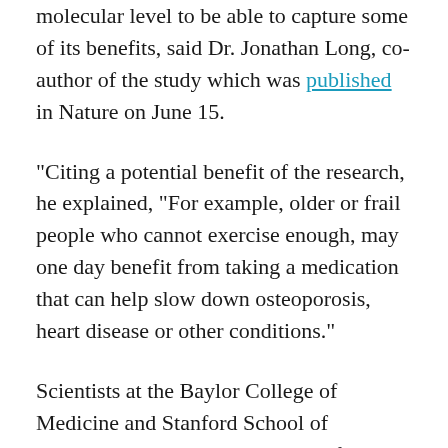molecular level to be able to capture some of its benefits, said Dr. Jonathan Long, co-author of the study which was published in Nature on June 15.
Citing a potential benefit of the research, he explained, “For example, older or frail people who cannot exercise enough, may one day benefit from taking a medication that can help slow down osteoporosis, heart disease or other conditions.”
Scientists at the Baylor College of Medicine and Stanford School of Medicine conducted an analysis of blood plasma compounds from mice, following an intense regimen of physical exercise. The researchers identified a modified amino acid called Lac-Phe, which prompted a reduction in food intake by over 50 percent in a 12-hour period. When administered to the mice, Lac-Phe resulted in lowered caloric intake and reduced body weight over a 10